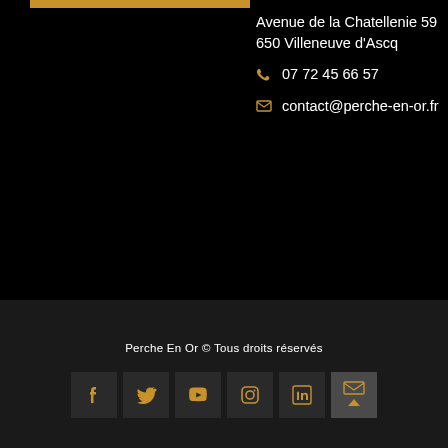Avenue de la Chatellenie
59 650 Villeneuve d'Ascq
07 72 45 66 57
contact@perche-en-or.fr
Perche En Or © Tous droits réservés
[Figure (other): Social media icons row: Facebook, Twitter, YouTube, Instagram, LinkedIn, Email; plus a back-to-top arrow button]